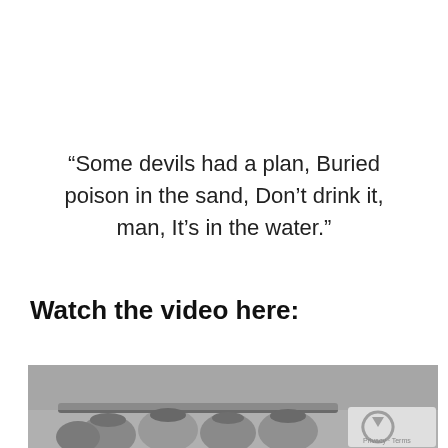“Some devils had a plan, Buried poison in the sand, Don’t drink it, man, It’s in the water.”
Watch the video here:
[Figure (photo): Black and white photograph showing a group of soldiers or military personnel near what appears to be a tank or military vehicle, partially visible at the bottom of the page. A reCAPTCHA logo watermark is visible in the bottom right corner.]